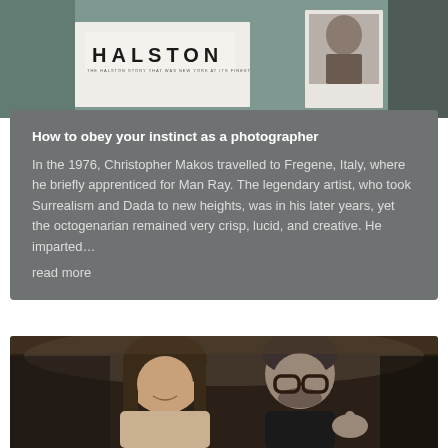[Figure (photo): Top portion of a photo showing a Halston book/magazine cover with 'HALSTON' text visible, alongside a Polaroid-style photograph, on a teal/gray background]
How to obey your instinct as a photographer
In the 1976, Christopher Makos travelled to Fregene, Italy, where he briefly apprenticed for Man Ray. The legendary artist, who took Surrealism and Dada to new heights, was in his later years, yet the octogenarian remained very crisp, lucid, and creative. He imparted…
read more
[Figure (photo): Photo of two people at what appears to be a formal dinner event — a woman with long dark hair and a man wearing large dark-framed glasses, smiling together]